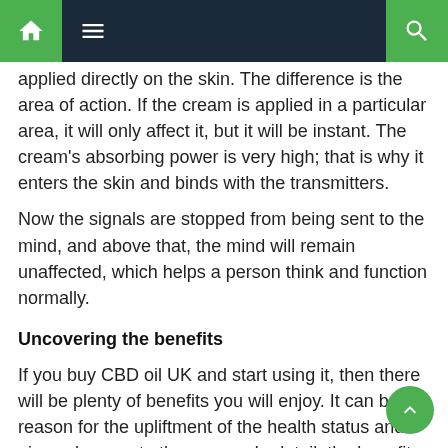Navigation bar with home, menu, and search icons
applied directly on the skin. The difference is the area of action. If the cream is applied in a particular area, it will only affect it, but it will be instant. The cream's absorbing power is very high; that is why it enters the skin and binds with the transmitters.
Now the signals are stopped from being sent to the mind, and above that, the mind will remain unaffected, which helps a person think and function normally.
Uncovering the benefits
If you buy CBD oil UK and start using it, then there will be plenty of benefits you will enjoy. It can be a reason for the upliftment of the health status and gives pleasure to the person. In detail, the benefits are discussed below.
The very first benefit of CBD oil is relief from some form of